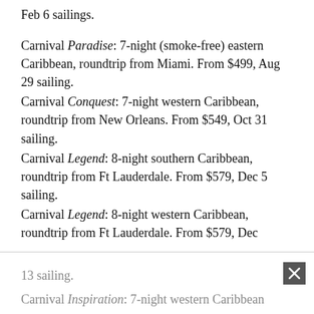Feb 6 sailings.
Carnival Paradise: 7-night (smoke-free) eastern Caribbean, roundtrip from Miami. From $499, Aug 29 sailing.
Carnival Conquest: 7-night western Caribbean, roundtrip from New Orleans. From $549, Oct 31 sailing.
Carnival Legend: 8-night southern Caribbean, roundtrip from Ft Lauderdale. From $579, Dec 5 sailing.
Carnival Legend: 8-night western Caribbean, roundtrip from Ft Lauderdale. From $579, Dec 13 sailing.
Carnival Inspiration: 7-night western Caribbean